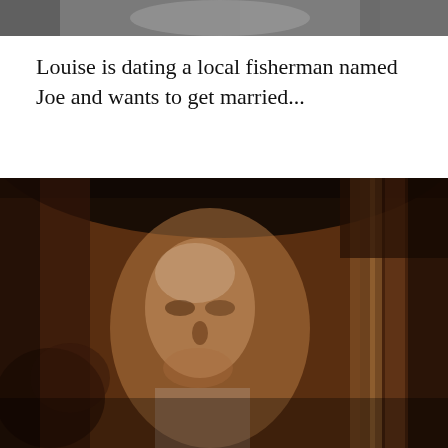[Figure (photo): Partial top portion of a black-and-white film still, cropped at the top of the page]
Louise is dating a local fisherman named Joe and wants to get married...
[Figure (photo): Black-and-white film still with a sepia/brown tint showing a person's face (likely a man) in close-up, with objects in the background, appears to be a projected vintage film]